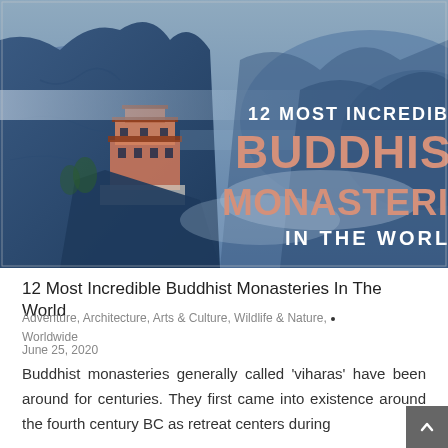[Figure (photo): Hero image of a Buddhist monastery (Tiger's Nest style) built into a blue-toned rocky cliff face with mountains in background. Overlaid text reads '12 MOST INCREDIBLE BUDDHIST MONASTERIES IN THE WORLD' in white and peach/salmon colored large bold font on the right side.]
12 Most Incredible Buddhist Monasteries In The World
Adventure, Architecture, Arts & Culture, Wildlife & Nature, Worldwide
June 25, 2020
Buddhist monasteries generally called 'viharas' have been around for centuries. They first came into existence around the fourth century BC as retreat centers during